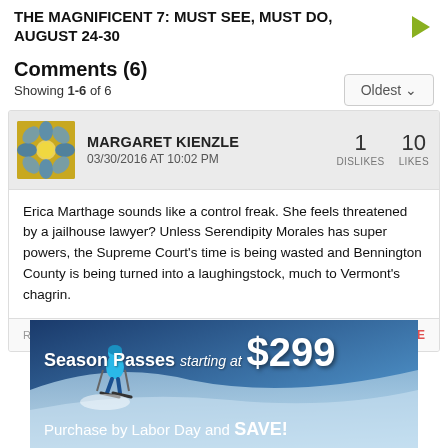THE MAGNIFICENT 7: MUST SEE, MUST DO, AUGUST 24-30
Comments (6)
Showing 1-6 of 6
MARGARET KIENZLE
03/30/2016 AT 10:02 PM
1 DISLIKES  10 LIKES
Erica Marthage sounds like a control freak. She feels threatened by a jailhouse lawyer? Unless Serendipity Morales has super powers, the Supreme Court's time is being wasted and Bennington County is being turned into a laughingstock, much to Vermont's chagrin.
[Figure (photo): Ski advertisement banner: 'Season Passes starting at $299 — Purchase by Labor Day and SAVE!' with skier on snowy slope background]